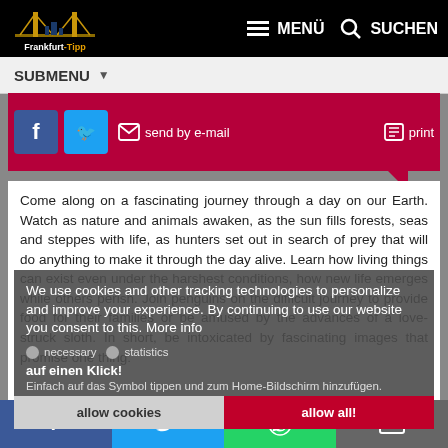Frankfurt-Tipp | MENÜ | SUCHEN
SUBMENU
[Figure (screenshot): Share bar with Facebook, Twitter, email and print buttons on crimson background]
Come along on a fascinating journey through a day on our Earth. Watch as nature and animals awaken, as the sun fills forests, seas and steppes with life, as hunters set out in search of prey that will do anything to make it through the day alive. Learn how living things can exist even under the harshest conditions, how new life emerges while others perish. Join penguins on the difficult journey to provide food for their families or be amused by the advances of a love-struck sloth. In short, be intoxicated by fascinating images that promise one thing:
We use cookies and other tracking technologies to personalize and improve your experience. By continuing to use our website you consent to this. More info
necessary
statistics
auf einen Klick!
Einfach auf das Symbol tippen und zum Home-Bildschirm hinzufügen.
allow cookies
allow all!